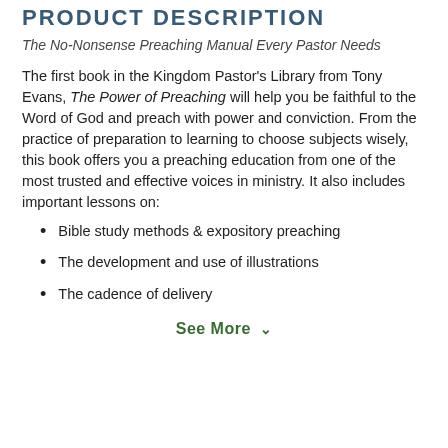PRODUCT DESCRIPTION
The No-Nonsense Preaching Manual Every Pastor Needs
The first book in the Kingdom Pastor's Library from Tony Evans, The Power of Preaching will help you be faithful to the Word of God and preach with power and conviction. From the practice of preparation to learning to choose subjects wisely, this book offers you a preaching education from one of the most trusted and effective voices in ministry. It also includes important lessons on:
Bible study methods & expository preaching
The development and use of illustrations
The cadence of delivery
See More ∨